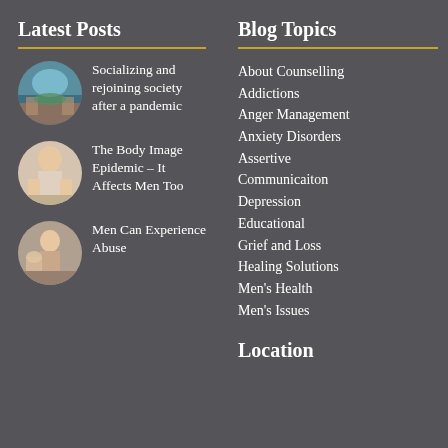Latest Posts
Socializing and rejoining society after a pandemic
The Body Image Epidemic – It Affects Men Too
Men Can Experience Abuse
Blog Topics
About Counselling
Addictions
Anger Management
Anxiety Disorders
Assertive Communicaiton
Depression
Educational
Grief and Loss
Healing Solutions
Men's Health
Men's Issues
Location